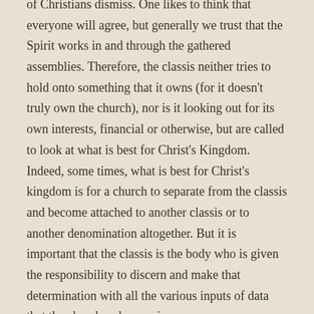agree, but generally we trust that the Spirit works in and through the gathered assemblies. Therefore, the classis neither tries to hold onto something that it owns (for it doesn't truly own the church), nor is it looking out for its own interests, financial or otherwise, but are called to look at what is best for Christ's Kingdom. Indeed, some times, what is best for Christ's kingdom is for a church to separate from the classis and become attached to another classis or to another denomination altogether. But it is important that the classis is the body who is given the responsibility to discern and make that determination with all the various inputs of data that the church order requires.
This regulation, however, strips the classis of this responsibility. I think that the goal of the Task Force is to try to streamline the process and to make the process consistent throughout the